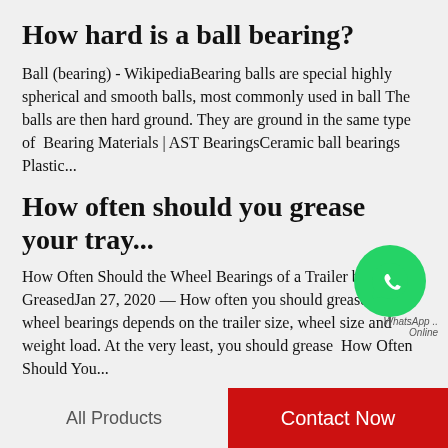How hard is a ball bearing?
Ball (bearing) - WikipediaBearing balls are special highly spherical and smooth balls, most commonly used in ball The balls are then hard ground. They are ground in the same type of  Bearing Materials | AST BearingsCeramic ball bearings Plastic...
How often should you grease your tray...
[Figure (logo): WhatsApp green circle icon with phone handset, labeled WhatsApp Online]
How Often Should the Wheel Bearings of a Trailer be GreasedJan 27, 2020 — How often you should grease your wheel bearings depends on the trailer size, wheel size and weight load. At the very least, you should grease  How Often Should You...
All Products   Contact Now